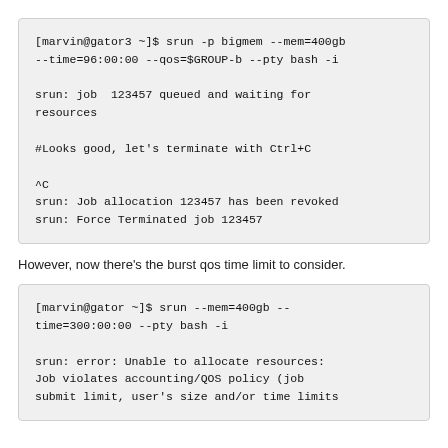[marvin@gator3 ~]$ srun -p bigmem --mem=400gb --time=96:00:00 --qos=$GROUP-b --pty bash -i

srun: job  123457 queued and waiting for resources

#Looks good, let's terminate with Ctrl+C

^C
srun: Job allocation 123457 has been revoked
srun: Force Terminated job 123457
However, now there's the burst qos time limit to consider.
[marvin@gator ~]$ srun --mem=400gb --time=300:00:00 --pty bash -i

srun: error: Unable to allocate resources: Job violates accounting/QOS policy (job submit limit, user's size and/or time limits